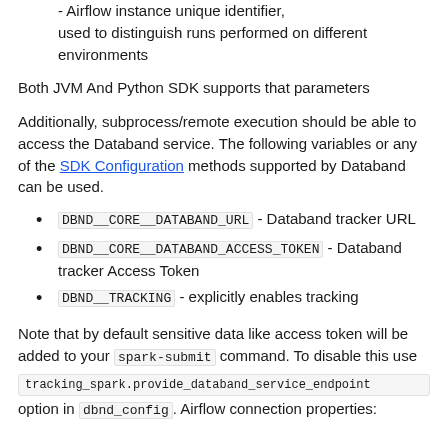- Airflow instance unique identifier, used to distinguish runs performed on different environments
Both JVM And Python SDK supports that parameters
Additionally, subprocess/remote execution should be able to access the Databand service. The following variables or any of the SDK Configuration methods supported by Databand can be used.
DBND__CORE__DATABAND_URL - Databand tracker URL
DBND__CORE__DATABAND_ACCESS_TOKEN - Databand tracker Access Token
DBND__TRACKING - explicitly enables tracking
Note that by default sensitive data like access token will be added to your spark-submit command. To disable this use
tracking_spark.provide_databand_service_endpoint
option in dbnd_config. Airflow connection properties: